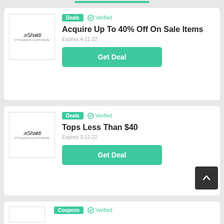[Figure (logo): eShakti brand logo in a white bordered box]
Deals  ✓ Verified
Acquire Up To 40% Off On Sale Items
Expires 4-11-22
Get Deal
[Figure (logo): eShakti brand logo in a white bordered box]
Deals  ✓ Verified
Tops Less Than $40
Expires 3-12-22
Get Deal
Coupons  ✓ Verified